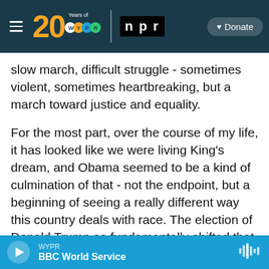20 Years of WYPR | NPR | Donate
slow march, difficult struggle - sometimes violent, sometimes heartbreaking, but a march toward justice and equality.

For the most part, over the course of my life, it has looked like we were living King's dream, and Obama seemed to be a kind of culmination of that - not the endpoint, but a beginning of seeing a really different way this country deals with race. The election of Donald Trump so fundamentally shifted that narrative for me that I just felt kind of lost in a lot of ways, and I started realizing I'd been walking around thinking that, essentially, racists were all
WYPR
BBC World Service